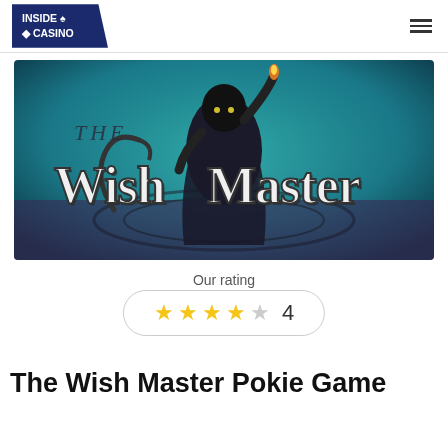INSIDE ♠ CASINO
[Figure (illustration): The Wish Master slot game promotional image — a dark cloaked figure holding a torch aloft, with large stylized 'The Wish Master' text on a teal/dark background]
Our rating
★★★★☆  4
The Wish Master Pokie Game